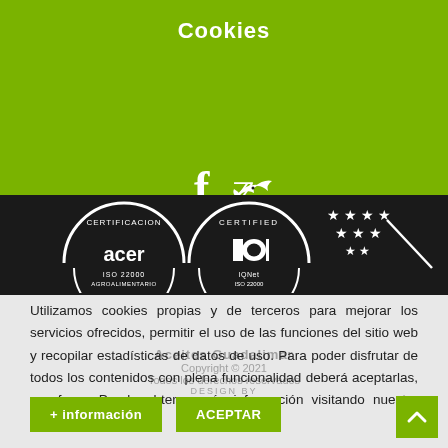Cookies
[Figure (logo): Social media icons: Facebook (f) and Twitter bird icon in white on green background]
[Figure (logo): Black bar with certification logos: ACER Certificacion, IQNet Certified, and EU stars logo]
Utilizamos cookies propias y de terceros para mejorar los servicios ofrecidos, permitir el uso de las funciones del sitio web y recopilar estadísticas de datos de uso. Para poder disfrutar de todos los contenidos con plena funcionalidad deberá aceptarlas, por favor. Puede obtener más información visitando nuestra política de cookies.
Aceites Guadalimar
Copyright © 2021
Todos los derechos reservados
DESIGN BY
+ información
ACEPTAR